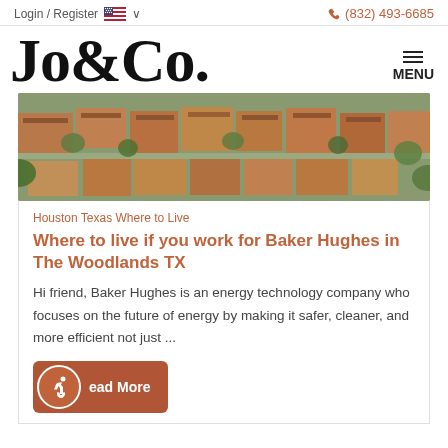Login / Register  🇺🇸 ∨  (832) 493-6685
Jo&Co.
[Figure (photo): Aerial view of a suburban residential neighborhood with houses, rooftops, and trees]
Houston Texas Where to Live
Where to live if you work for Baker Hughes in The Woodlands TX
Hi friend, Baker Hughes is an energy technology company who focuses on the future of energy by making it safer, cleaner, and more efficient not just ...
Read More